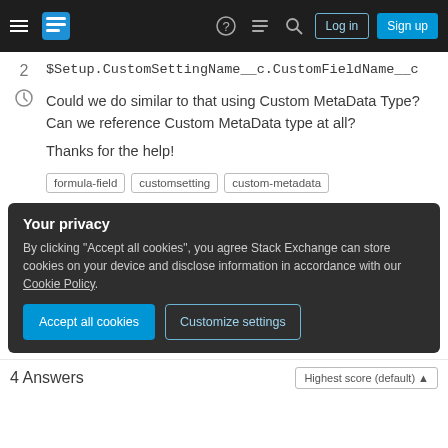Stack Exchange navigation bar with Log in and Sign up buttons
$Setup.CustomSettingName__c.CustomFieldName__c
Could we do similar to that using Custom MetaData Type? Can we reference Custom MetaData type at all?
Thanks for the help!
formula-field
customsetting
custom-metadata
Your privacy
By clicking "Accept all cookies", you agree Stack Exchange can store cookies on your device and disclose information in accordance with our Cookie Policy.
4 Answers